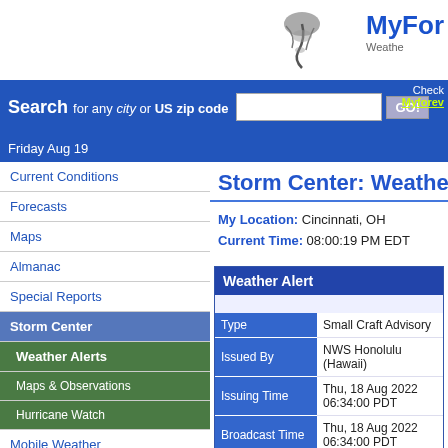MyForecast - Weather...
Search for any city or US zip code [GO!] Check Myforecast...
Friday Aug 19
Storm Center: Weather Alerts
My Location: Cincinnati, OH
Current Time: 08:00:19 PM EDT
Current Conditions
Forecasts
Maps
Almanac
Special Reports
Storm Center
Weather Alerts
Maps & Observations
Hurricane Watch
Mobile Weather
Marine Reports
Ski Reports
Weather On Your Site
| Weather Alert |  |
| --- | --- |
|  |  |
| Type | Small Craft Advisory |
| Issued By | NWS Honolulu (Hawaii) |
| Issuing Time | Thu, 18 Aug 2022 06:34:00 PDT |
| Broadcast Time | Thu, 18 Aug 2022 06:34:00 PDT |
| Valid Until | Sun, 21 Aug 2022 21:00:00 PDT |